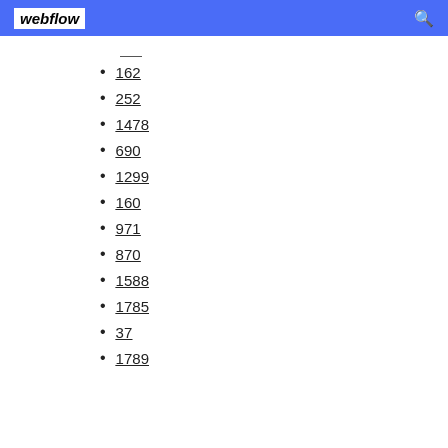webflow
162
252
1478
690
1299
160
971
870
1588
1785
37
1789